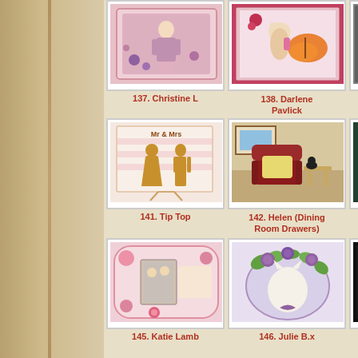[Figure (photo): Grid of craft/card making project thumbnails with labels. Row 1: items 137 (Christine L), 138 (Darlene Pavlick), 139 (partial). Row 2: items 141 (Tip Top), 142 (Helen Dining Room Drawers), 143 (partial). Row 3: items 145 (Katie Lamb), 146 (Julie B.x), 147 (partial).]
137. Christine L
138. Darlene Pavlick
141. Tip Top
142. Helen (Dining Room Drawers)
145. Katie Lamb
146. Julie B.x